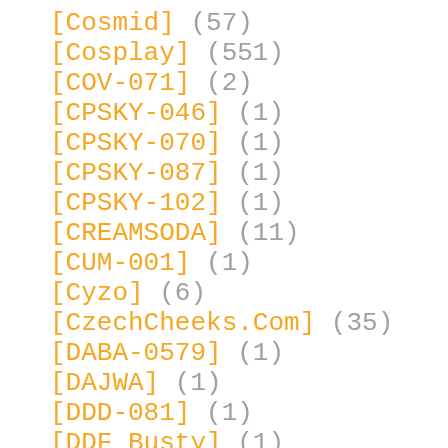[Cosmid] (57)
[Cosplay] (551)
[COV-071] (2)
[CPSKY-046] (1)
[CPSKY-070] (1)
[CPSKY-087] (1)
[CPSKY-102] (1)
[CREAMSODA] (11)
[CUM-001] (1)
[Cyzo] (6)
[CzechCheeks.Com] (35)
[DABA-0579] (1)
[DAJWA] (1)
[DDD-081] (1)
[DDF Busty] (1)